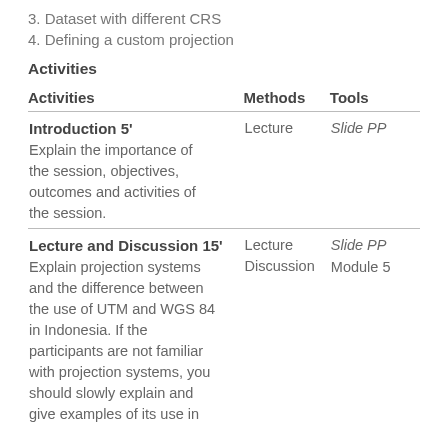3. Dataset with different CRS
4. Defining a custom projection
Activities
| Activities | Methods | Tools |
| --- | --- | --- |
| Introduction 5' | Lecture | Slide PP |
| Explain the importance of the session, objectives, outcomes and activities of the session. |  |  |
| Lecture and Discussion 15' | Lecture | Slide PP |
| Explain projection systems and the difference between the use of UTM and WGS 84 in Indonesia. If the participants are not familiar with projection systems, you should slowly explain and give examples of its use in | Discussion | Module 5 |